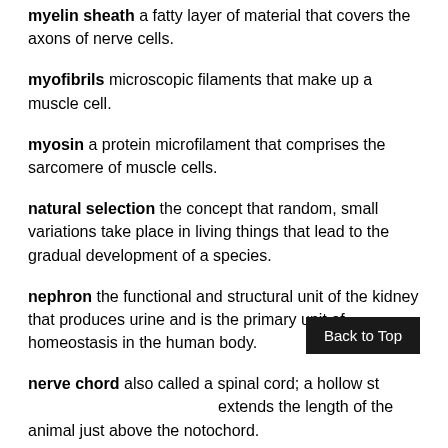myelin sheath a fatty layer of material that covers the axons of nerve cells.
myofibrils microscopic filaments that make up a muscle cell.
myosin a protein microfilament that comprises the sarcomere of muscle cells.
natural selection the concept that random, small variations take place in living things that lead to the gradual development of a species.
nephron the functional and structural unit of the kidney that produces urine and is the primary unit of homeostasis in the human body.
Back to Top
nerve chord also called a spinal cord; a hollow structure that extends the length of the animal just above the notochord.